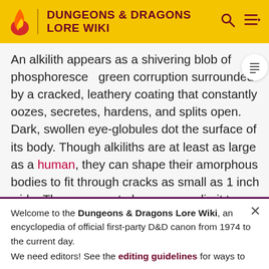DUNGEONS & DRAGONS LORE WIKI
An alkilith appears as a shivering blob of phosphorescent green corruption surrounded by a cracked, leathery coating that constantly oozes, secretes, hardens, and splits open. Dark, swollen eye-globules dot the surface of its body. Though alkiliths are at least as large as a human, they can shape their amorphous bodies to fit through cracks as small as 1 inch wide. There seems to be no upper limit to an Alkilith's size however; planar travelers tell stories of alkiliths the size of lakes in the deepest reaches of the Abyss. Despite their gelatinous shape,
Welcome to the Dungeons & Dragons Lore Wiki, an encyclopedia of official first-party D&D canon from 1974 to the current day.
We need editors! See the editing guidelines for ways to